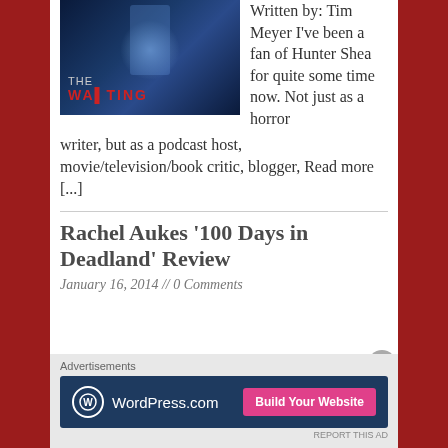[Figure (photo): Book cover of 'The Waiting' showing a dark blue/navy background with a ghostly figure and blue atmospheric lighting, title text at bottom]
Written by: Tim Meyer I've been a fan of Hunter Shea for quite some time now. Not just as a horror writer, but as a podcast host, movie/television/book critic, blogger, Read more [...]
Rachel Aukes '100 Days in Deadland' Review
January 16, 2014 // 0 Comments
[Figure (screenshot): WordPress.com advertisement banner with dark blue background, WordPress logo on left and pink 'Build Your Website' button on right]